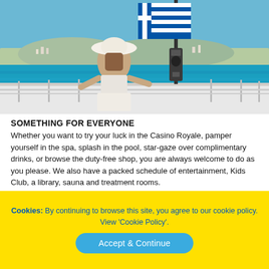[Figure (photo): Woman in white hat standing on boat deck looking toward Greek island coastline with blue-striped Greek flag visible]
SOMETHING FOR EVERYONE
Whether you want to try your luck in the Casino Royale, pamper yourself in the spa, splash in the pool, star-gaze over complimentary drinks, or browse the duty-free shop, you are always welcome to do as you please. We also have a packed schedule of entertainment, Kids Club, a library, sauna and treatment rooms.
[Figure (photo): Partial view of a second photo at the bottom of the page (cropped)]
Cookies: By continuing to browse this site, you agree to our cookie policy. View 'Cookie Policy'. Accept & Continue